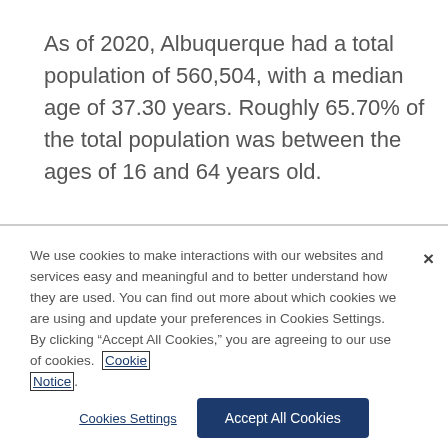As of 2020, Albuquerque had a total population of 560,504, with a median age of 37.30 years. Roughly 65.70% of the total population was between the ages of 16 and 64 years old.
We use cookies to make interactions with our websites and services easy and meaningful and to better understand how they are used. You can find out more about which cookies we are using and update your preferences in Cookies Settings. By clicking “Accept All Cookies,” you are agreeing to our use of cookies. Cookie Notice.
Cookies Settings
Accept All Cookies